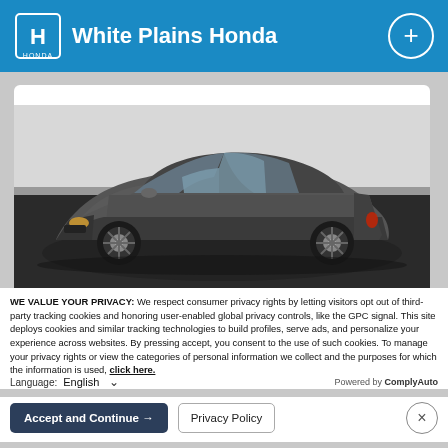White Plains Honda
[Figure (photo): A dark gray Honda coupe photographed in a showroom or studio with white and dark background panels. The car is shown from a front three-quarter angle.]
WE VALUE YOUR PRIVACY: We respect consumer privacy rights by letting visitors opt out of third-party tracking cookies and honoring user-enabled global privacy controls, like the GPC signal. This site deploys cookies and similar tracking technologies to build profiles, serve ads, and personalize your experience across websites. By pressing accept, you consent to the use of such cookies. To manage your privacy rights or view the categories of personal information we collect and the purposes for which the information is used, click here.
Language: English     Powered by ComplyAuto
Accept and Continue →   Privacy Policy   ×